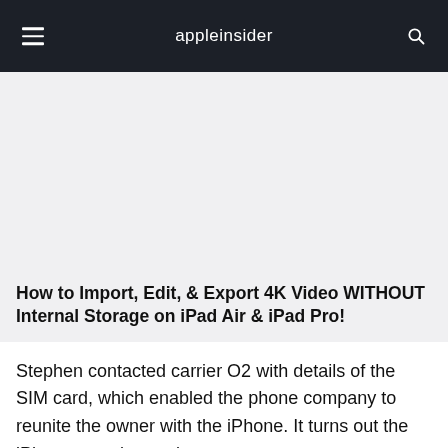appleinsider
[Figure (other): Light gray placeholder image area for a YouTube video thumbnail about importing, editing, and exporting 4K video on iPad]
How to Import, Edit, & Export 4K Video WITHOUT Internal Storage on iPad Air & iPad Pro!
Stephen contacted carrier O2 with details of the SIM card, which enabled the phone company to reunite the owner with the iPhone. It turns out the iPhone was dropped over a year ago.